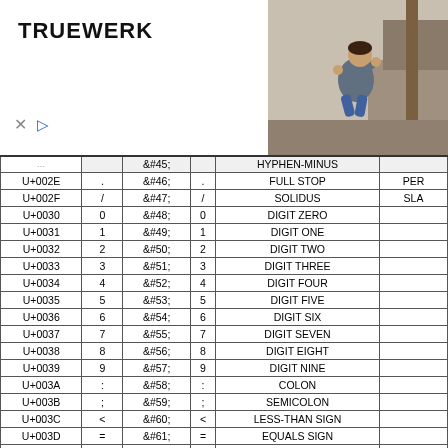[Figure (photo): TRUEWERK advertisement banner with logo on the left and a photo of a person crouching outdoors on the right. Below the logo are close/play icons.]
| Code | Char | HTML | Rend | Name | Alias |
| --- | --- | --- | --- | --- | --- |
| U+002E | . | &#46; | . | FULL STOP | PER... |
| U+002F | / | &#47; | / | SOLIDUS | SLA... |
| U+0030 | 0 | &#48; | 0 | DIGIT ZERO |  |
| U+0031 | 1 | &#49; | 1 | DIGIT ONE |  |
| U+0032 | 2 | &#50; | 2 | DIGIT TWO |  |
| U+0033 | 3 | &#51; | 3 | DIGIT THREE |  |
| U+0034 | 4 | &#52; | 4 | DIGIT FOUR |  |
| U+0035 | 5 | &#53; | 5 | DIGIT FIVE |  |
| U+0036 | 6 | &#54; | 6 | DIGIT SIX |  |
| U+0037 | 7 | &#55; | 7 | DIGIT SEVEN |  |
| U+0038 | 8 | &#56; | 8 | DIGIT EIGHT |  |
| U+0039 | 9 | &#57; | 9 | DIGIT NINE |  |
| U+003A | : | &#58; | : | COLON |  |
| U+003B | ; | &#59; | ; | SEMICOLON |  |
| U+003C | < | &#60; | < | LESS-THAN SIGN |  |
| U+003D | = | &#61; | = | EQUALS SIGN |  |
| U+003E | > | &#62; | > | GREATER-THAN SIGN |  |